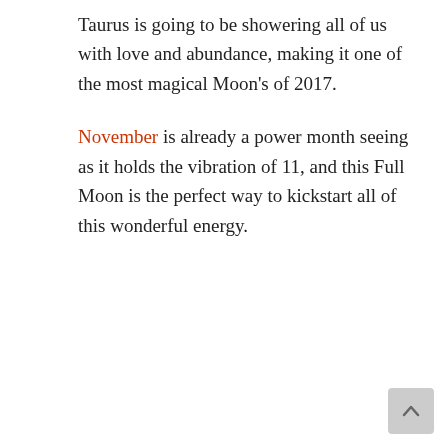Taurus is going to be showering all of us with love and abundance, making it one of the most magical Moon's of 2017.
November is already a power month seeing as it holds the vibration of 11, and this Full Moon is the perfect way to kickstart all of this wonderful energy.